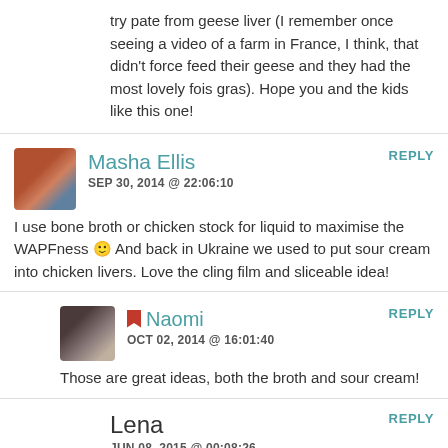try pate from geese liver (I remember once seeing a video of a farm in France, I think, that didn't force feed their geese and they had the most lovely fois gras). Hope you and the kids like this one!
Masha Ellis
SEP 30, 2014 @ 22:06:10
REPLY
I use bone broth or chicken stock for liquid to maximise the WAPFness 🙂 And back in Ukraine we used to put sour cream into chicken livers. Love the cling film and sliceable idea!
Naomi
OCT 02, 2014 @ 16:01:40
REPLY
Those are great ideas, both the broth and sour cream!
Lena
JUN 08, 2015 @ 00:08:26
REPLY